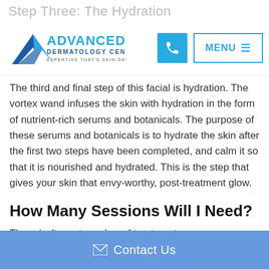Step Three: The Hydration P...
[Figure (logo): Advanced Dermatology Center logo with blue mountain/triangle icon and text 'ADVANCED DERMATOLOGY CENTER - EXPERTISE THAT'S SKIN-DEEP']
The third and final step of this facial is hydration. The vortex wand infuses the skin with hydration in the form of nutrient-rich serums and botanicals. The purpose of these serums and botanicals is to hydrate the skin after the first two steps have been completed, and calm it so that it is nourished and hydrated. This is the step that gives your skin that envy-worthy, post-treatment glow.
How Many Sessions Will I Need?
There isn't a set number of treatments
Contact Us